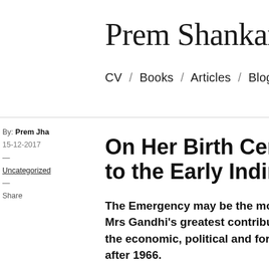Prem Shankar Jha
CV / Books / Articles / Blog
By: Prem Jha
15-12-2017
—
Uncategorized
—
Share
On Her Birth Centenary, W… to the Early Indira Gandhi…
The Emergency may be the most cont… Mrs Gandhi's greatest contribution to… the economic, political and foreign po… after 1966.
Indira Gandhi is the most controversial prime minister… tragic and untimely death, an older generation of India…